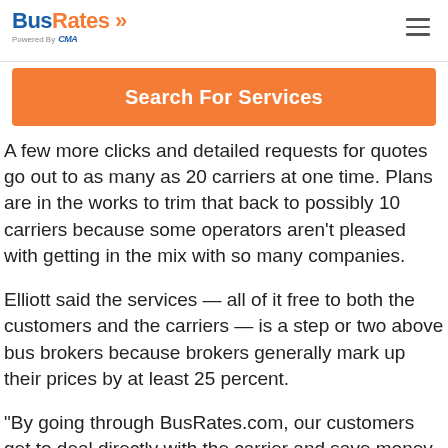BusRates >> Powered By LMA
[Figure (screenshot): Orange 'Search For Services' button]
A few more clicks and detailed requests for quotes go out to as many as 20 carriers at one time. Plans are in the works to trim that back to possibly 10 carriers because some operators aren't pleased with getting in the mix with so many companies.
Elliott said the services — all of it free to both the customers and the carriers — is a step or two above bus brokers because brokers generally mark up their prices by at least 25 percent.
“By going through BusRates.com, our customers get to deal directly with the carrier and save money, too.”